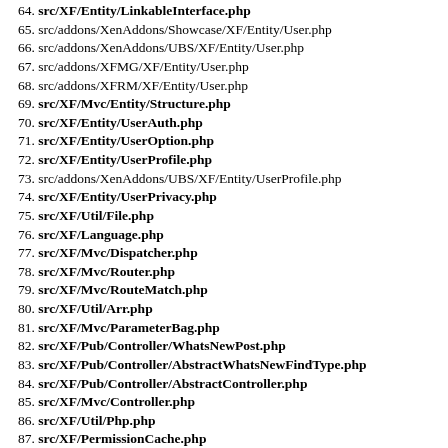64. src/XF/Entity/LinkableInterface.php
65. src/addons/XenAddons/Showcase/XF/Entity/User.php
66. src/addons/XenAddons/UBS/XF/Entity/User.php
67. src/addons/XFMG/XF/Entity/User.php
68. src/addons/XFRM/XF/Entity/User.php
69. src/XF/Mvc/Entity/Structure.php
70. src/XF/Entity/UserAuth.php
71. src/XF/Entity/UserOption.php
72. src/XF/Entity/UserProfile.php
73. src/addons/XenAddons/UBS/XF/Entity/UserProfile.php
74. src/XF/Entity/UserPrivacy.php
75. src/XF/Util/File.php
76. src/XF/Language.php
77. src/XF/Mvc/Dispatcher.php
78. src/XF/Mvc/Router.php
79. src/XF/Mvc/RouteMatch.php
80. src/XF/Util/Arr.php
81. src/XF/Mvc/ParameterBag.php
82. src/XF/Pub/Controller/WhatsNewPost.php
83. src/XF/Pub/Controller/AbstractWhatsNewFindType.php
84. src/XF/Pub/Controller/AbstractController.php
85. src/XF/Mvc/Controller.php
86. src/XF/Util/Php.php
87. src/XF/PermissionCache.php
88. src/XF/PermissionSet.php